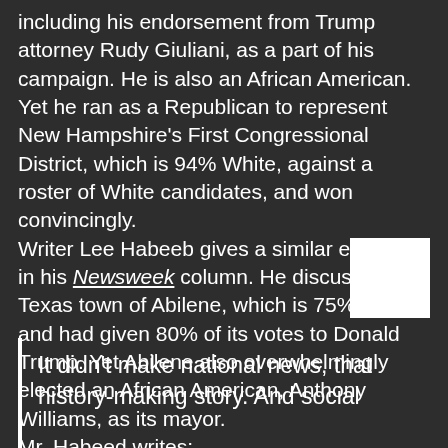including his endorsement from Trump attorney Rudy Giuliani, as a part of his campaign. He is also an African American.  Yet he ran as a Republican to represent New Hampshire's First Congressional District, which is 94% White, against a roster of White candidates, and won convincingly.
Writer Lee Habeeb gives a similar example in his Newsweek column. He discusses the Texas town of Abilene, which is 75% White and had given 80% of its votes to Donald Trump. Yet Abilene also overwhelmingly elected an African American, Anthony Williams, as its mayor.
Mr. Habeed writes:
It didn't make national news, that history-making story. And social